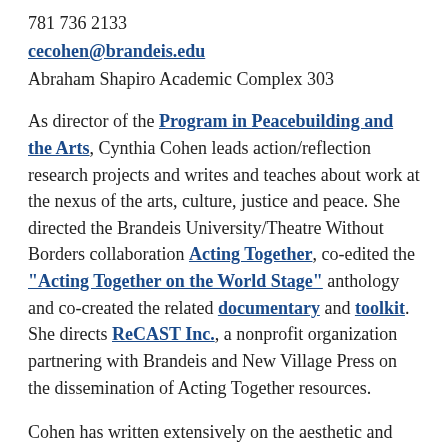781 736 2133
cecohen@brandeis.edu
Abraham Shapiro Academic Complex 303
As director of the Program in Peacebuilding and the Arts, Cynthia Cohen leads action/reflection research projects and writes and teaches about work at the nexus of the arts, culture, justice and peace. She directed the Brandeis University/Theatre Without Borders collaboration Acting Together, co-edited the "Acting Together on the World Stage" anthology and co-created the related documentary and toolkit. She directs ReCAST Inc., a nonprofit organization partnering with Brandeis and New Village Press on the dissemination of Acting Together resources.
Cohen has written extensively on the aesthetic and ethical dimensions of peacebuilding, including the